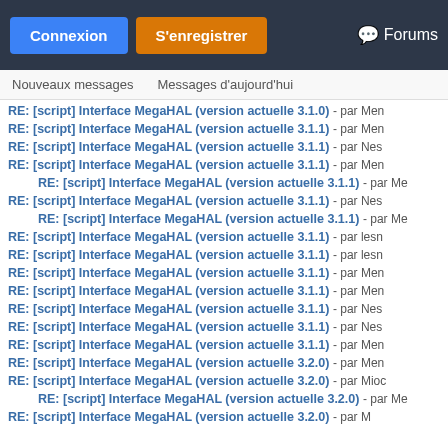Connexion | S'enregistrer | Forums
Nouveaux messages   Messages d'aujourd'hui
RE: [script] Interface MegaHAL (version actuelle 3.1.0) - par Men
RE: [script] Interface MegaHAL (version actuelle 3.1.1) - par Men
RE: [script] Interface MegaHAL (version actuelle 3.1.1) - par Nes
RE: [script] Interface MegaHAL (version actuelle 3.1.1) - par Men
RE: [script] Interface MegaHAL (version actuelle 3.1.1) - par Me
RE: [script] Interface MegaHAL (version actuelle 3.1.1) - par Nes
RE: [script] Interface MegaHAL (version actuelle 3.1.1) - par Me
RE: [script] Interface MegaHAL (version actuelle 3.1.1) - par lesn
RE: [script] Interface MegaHAL (version actuelle 3.1.1) - par lesn
RE: [script] Interface MegaHAL (version actuelle 3.1.1) - par Men
RE: [script] Interface MegaHAL (version actuelle 3.1.1) - par Men
RE: [script] Interface MegaHAL (version actuelle 3.1.1) - par Nes
RE: [script] Interface MegaHAL (version actuelle 3.1.1) - par Nes
RE: [script] Interface MegaHAL (version actuelle 3.1.1) - par Men
RE: [script] Interface MegaHAL (version actuelle 3.2.0) - par Men
RE: [script] Interface MegaHAL (version actuelle 3.2.0) - par Mioc
RE: [script] Interface MegaHAL (version actuelle 3.2.0) - par Me
RE: [script] Interface MegaHAL (version actuelle 3.2.0) - par M